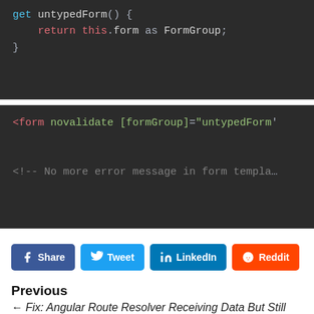[Figure (screenshot): Code block showing TypeScript getter: get untypedForm() { return this.form as FormGroup; }]
[Figure (screenshot): Code block showing HTML: <form novalidate [formGroup]="untypedForm" ... <!-- No more error message in form template -->]
Share  Tweet  LinkedIn  Reddit
Previous
← Fix: Angular Route Resolver Receiving Data But Still Preventing Navigation To Route
Next
Using the html <time></time> element with Angular →